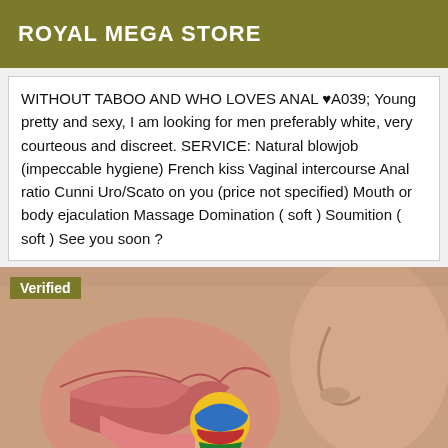ROYAL MEGA STORE
WITHOUT TABOO AND WHO LOVES ANAL ♥A039; Young pretty and sexy, I am looking for men preferably white, very courteous and discreet. SERVICE: Natural blowjob (impeccable hygiene) French kiss Vaginal intercourse Anal ratio Cunni Uro/Scato on you (price not specified) Mouth or body ejaculation Massage Domination ( soft ) Soumition ( soft ) See you soon ?
[Figure (photo): Close-up photo of lips and a colorful lollipop being licked, with another face profile visible on the right side. A 'Verified' badge appears in the top-left corner of the image.]